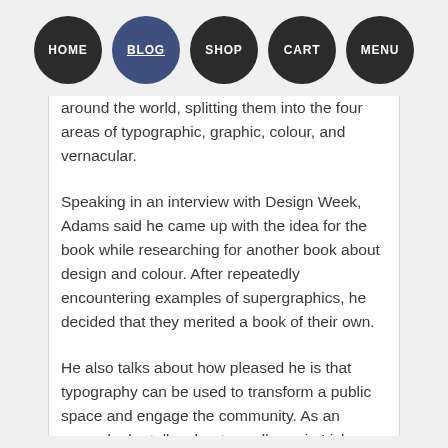HOME | BLOG | SHOP | CART | MENU
around the world, splitting them into the four areas of typographic, graphic, colour, and vernacular.
Speaking in an interview with Design Week, Adams said he came up with the idea for the book while researching for another book about design and colour. After repeatedly encountering examples of supergraphics, he decided that they merited a book of their own.
He also talks about how pleased he is that typography can be used to transform a public space and engage the community. As an example, he talks about a walkway in Lisbon that was transformed by Portuguese group P-06 Atelier into something that activates the public by using custom lettering on the ground to express messages and instructions.
Adams also talks about the flawless typography at the